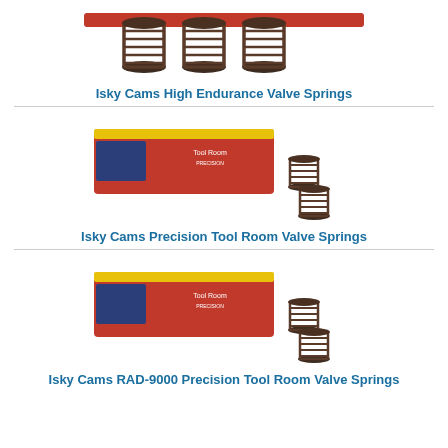[Figure (photo): Isky Cams High Endurance Valve Springs - multiple coil springs on a red bar]
Isky Cams High Endurance Valve Springs
[Figure (photo): Isky Cams Precision Tool Room Valve Springs - red box packaging with two loose valve springs]
Isky Cams Precision Tool Room Valve Springs
[Figure (photo): Isky Cams RAD-9000 Precision Tool Room Valve Springs - red box packaging with two loose valve springs]
Isky Cams RAD-9000 Precision Tool Room Valve Springs